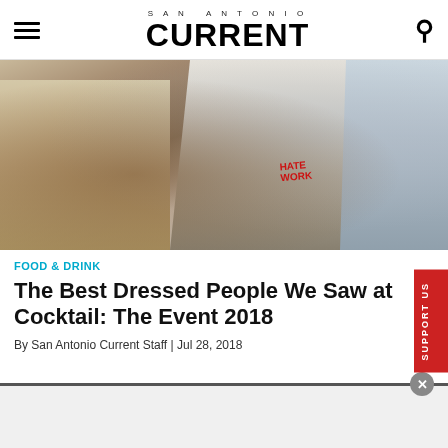SAN ANTONIO CURRENT
[Figure (photo): Two people at Cocktail: The Event 2018, one wearing a white apron, standing close together in an event venue]
FOOD & DRINK
The Best Dressed People We Saw at Cocktail: The Event 2018
By San Antonio Current Staff | Jul 28, 2018